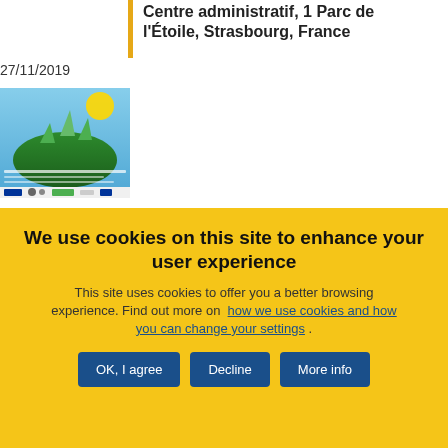Centre administratif, 1 Parc de l'Étoile, Strasbourg, France
27/11/2019
[Figure (photo): Thumbnail image related to a social/environmental event publication with EU logos]
Blockchain: technology for the social economy 4.0
Event
Public Hearing
We use cookies on this site to enhance your user experience
This site uses cookies to offer you a better browsing experience. Find out more on how we use cookies and how you can change your settings .